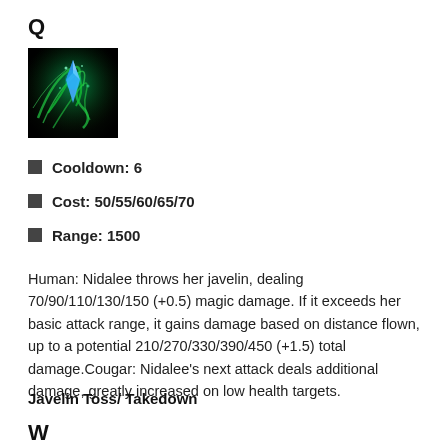Q
[Figure (illustration): Game ability icon showing a green glowing javelin/gem against a dark background]
Cooldown: 6
Cost: 50/55/60/65/70
Range: 1500
Human: Nidalee throws her javelin, dealing 70/90/110/130/150 (+0.5) magic damage. If it exceeds her basic attack range, it gains damage based on distance flown, up to a potential 210/270/330/390/450 (+1.5) total damage.Cougar: Nidalee's next attack deals additional damage, greatly increased on low health targets.
Javelin Toss/ Takedown
W